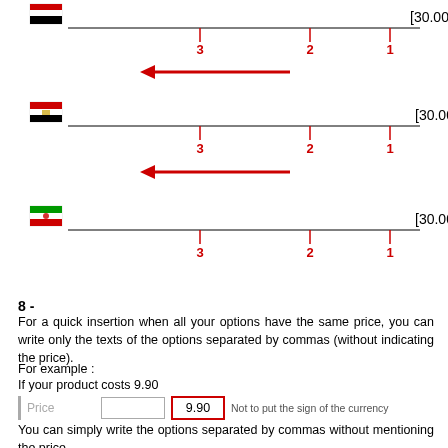[Figure (infographic): RTL diagram showing flag with Arabic text and numbered positions 3,2,1 with red arrow pointing left - first example (Iraq/Syria flag)]
[Figure (infographic): RTL diagram showing Egypt flag with Arabic color names (blue, green, white) and numbered positions 3,2,1 with red arrow pointing left]
[Figure (infographic): RTL diagram showing Iran flag with Arabic color names and numbered positions 3,2,1]
8 -
For a quick insertion when all your options have the same price, you can write only the texts of the options separated by commas (without indicating the price).
For example :
If your product costs 9.90
| Price |  | 9.90 | Not to put the sign of the currency |
You can simply write the options separated by commas without mentioning the price.
| Options (en) | Small,Medium,Large | Help |
The list of options will automatically be written correctly by putting